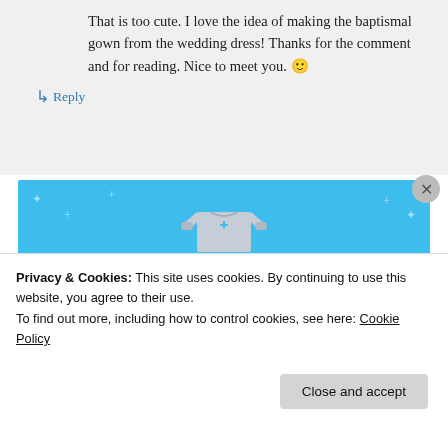That is too cute. I love the idea of making the baptismal gown from the wedding dress! Thanks for the comment and for reading. Nice to meet you. 🙂
↳ Reply
[Figure (illustration): Day One journaling app advertisement on a blue background with a t-shirt graphic, cross-plus icon, text 'DAY ONE' and tagline 'The only journaling app you'll ever need.']
Privacy & Cookies: This site uses cookies. By continuing to use this website, you agree to their use.
To find out more, including how to control cookies, see here: Cookie Policy
Close and accept